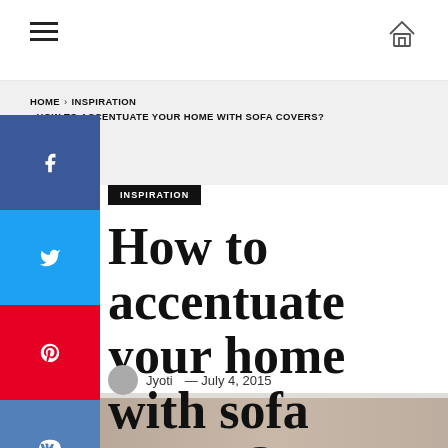Navigation bar with hamburger menu and home icon
HOME > INSPIRATION > HOW TO ACCENTUATE YOUR HOME WITH SOFA COVERS?
INSPIRATION
How to accentuate your home with sofa covers?
Jyoti — July 4, 2015
[Figure (photo): Bottom strip showing a partial photo of a sofa/living room scene]